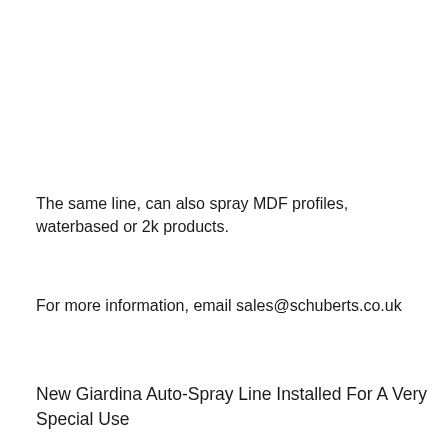The same line, can also spray MDF profiles, waterbased or 2k products.
For more information, email sales@schuberts.co.uk
New Giardina Auto-Spray Line Installed For A Very Special Use